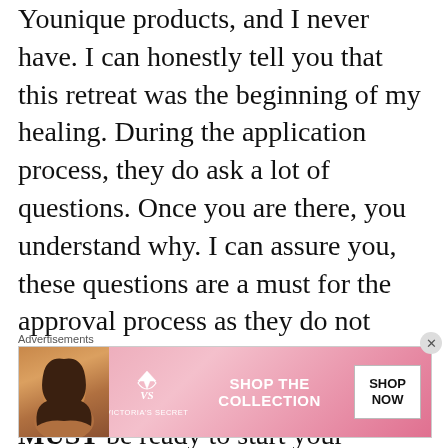Younique products, and I never have. I can honestly tell you that this retreat was the beginning of my healing. During the application process, they do ask a lot of questions. Once you are there, you understand why. I can assure you, these questions are a must for the approval process as they do not want to cause more stress/anxiety/depression. You MUST be ready to start your healing process, and not dependent on certain types of medications. After I applied, I di
[Figure (other): Advertisement banner for Victoria's Secret featuring a woman's photo on the left, VS logo, 'SHOP THE COLLECTION' text, and a 'SHOP NOW' button on the right]